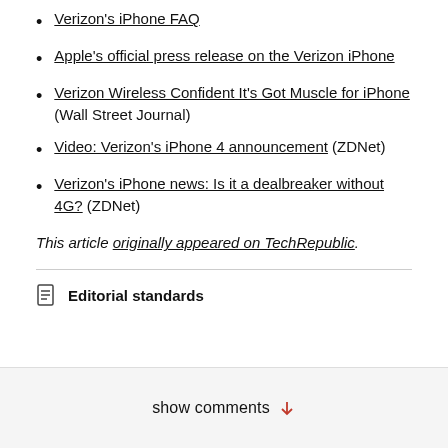Verizon's iPhone FAQ
Apple's official press release on the Verizon iPhone
Verizon Wireless Confident It's Got Muscle for iPhone (Wall Street Journal)
Video: Verizon's iPhone 4 announcement (ZDNet)
Verizon's iPhone news: Is it a dealbreaker without 4G? (ZDNet)
This article originally appeared on TechRepublic.
Editorial standards
show comments